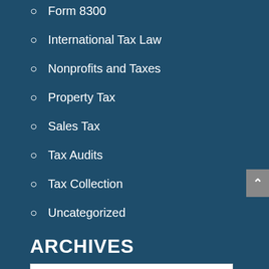Form 8300
International Tax Law
Nonprofits and Taxes
Property Tax
Sales Tax
Tax Audits
Tax Collection
Uncategorized
ARCHIVES
July 2020